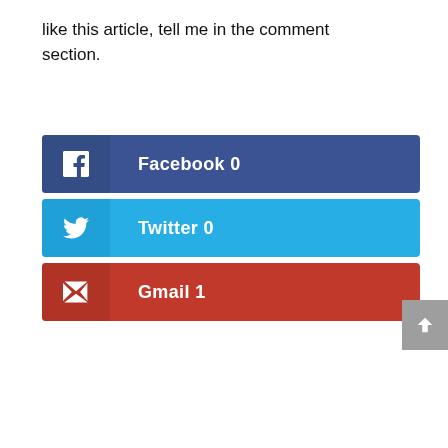like this article, tell me in the comment section.
[Figure (infographic): Three social share buttons: Facebook (count 0, dark blue), Twitter (count 0, light blue), Gmail (count 1, red). Each button has an icon box on the left and a label with count on the right.]
[Figure (other): Grey back-to-top arrow button in the upper right area]